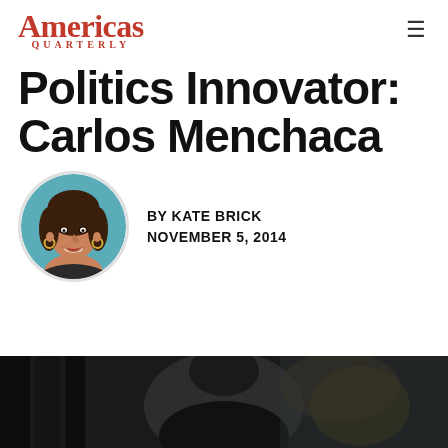Americas Quarterly
Politics Innovator: Carlos Menchaca
[Figure (illustration): Illustrated portrait of Kate Brick, a woman with dark hair and hoop earrings, smiling, shown from shoulders up in a circular frame with teal/turquoise background]
BY KATE BRICK
NOVEMBER 5, 2014
[Figure (photo): Partial photo at bottom of page showing a person, dark/shadowed, cropped at bottom edge of page]